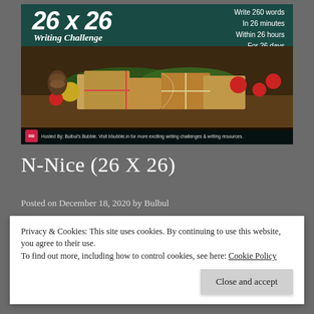[Figure (illustration): 26x26 Writing Challenge banner with Christmas theme. Shows text '26 x 26 Writing Challenge', 'Theme: Christmas & New Year', 'Write 260 words In 26 minutes Within 26 hours For 26 days' on a dark teal background with Christmas gifts and ornaments photo. Bottom bar: Hosted By: Bulbul's Bubble. Visit bbubble.in for more exciting writing challenges & writing resources.]
N-Nice (26 X 26)
Posted on December 18, 2020 by Bulbul
Privacy & Cookies: This site uses cookies. By continuing to use this website, you agree to their use.
To find out more, including how to control cookies, see here: Cookie Policy
Close and accept